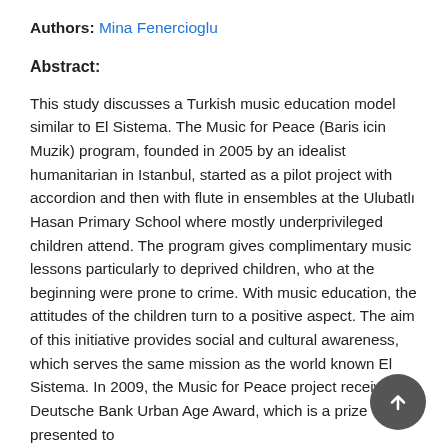Authors: Mina Fenercioglu
Abstract:
This study discusses a Turkish music education model similar to El Sistema. The Music for Peace (Baris icin Muzik) program, founded in 2005 by an idealist humanitarian in Istanbul, started as a pilot project with accordion and then with flute in ensembles at the Ulubatlı Hasan Primary School where mostly underprivileged children attend. The program gives complimentary music lessons particularly to deprived children, who at the beginning were prone to crime. With music education, the attitudes of the children turn to a positive aspect. The aim of this initiative provides social and cultural awareness, which serves the same mission as the world known El Sistema. In 2009, the Music for Peace project received Deutsche Bank Urban Age Award, which is a prize presented to